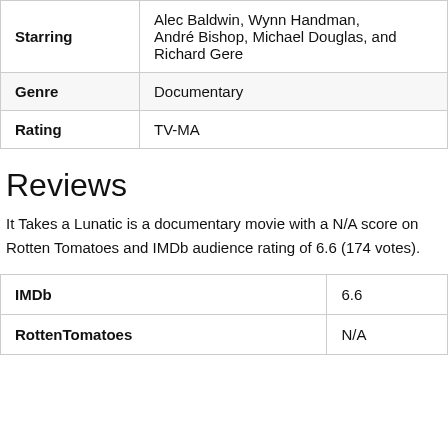|  |  |
| --- | --- |
| Starring | Alec Baldwin, Wynn Handman, André Bishop, Michael Douglas, and Richard Gere |
| Genre | Documentary |
| Rating | TV-MA |
Reviews
It Takes a Lunatic is a documentary movie with a N/A score on Rotten Tomatoes and IMDb audience rating of 6.6 (174 votes).
|  |  |
| --- | --- |
| IMDb | 6.6 |
| RottenTomatoes | N/A |